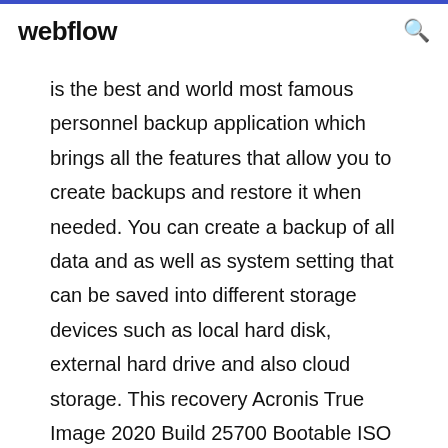webflow
is the best and world most famous personnel backup application which brings all the features that allow you to create backups and restore it when needed. You can create a backup of all data and as well as system setting that can be saved into different storage devices such as local hard disk, external hard drive and also cloud storage. This recovery Acronis True Image 2020 Build 25700 Bootable ISO ... Acronis True Image 2020 License Key Features: Now with Active Ransomware Protection Included! Disk backup to local storage and to Acronis Cloud; File backup to local storage and to Acronis Cloud; Rescue bootable media; Hard disk cloning; Data